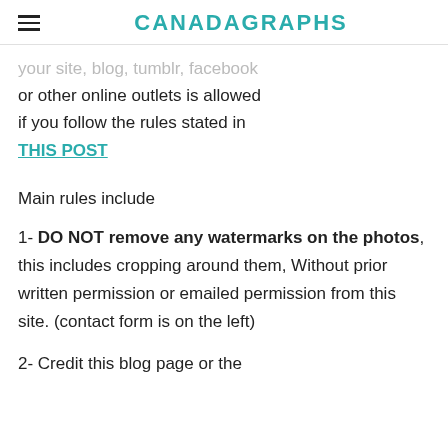CANADAGRAPHS
your site, blog, tumblr, facebook or other online outlets is allowed if you follow the rules stated in THIS POST
Main rules include
1- DO NOT remove any watermarks on the photos, this includes cropping around them, Without prior written permission or emailed permission from this site. (contact form is on the left)
2- Credit this blog page or the